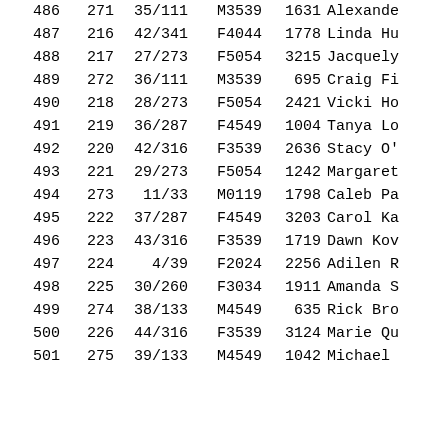| 486 | 271 | 35/111 |  | M3539 | 1631 | Alexande |
| 487 | 216 | 42/341 |  | F4044 | 1778 | Linda Hu |
| 488 | 217 | 27/273 |  | F5054 | 3215 | Jacquely |
| 489 | 272 | 36/111 |  | M3539 | 695 | Craig Fi |
| 490 | 218 | 28/273 |  | F5054 | 2421 | Vicki Ho |
| 491 | 219 | 36/287 |  | F4549 | 1004 | Tanya Lo |
| 492 | 220 | 42/316 |  | F3539 | 2636 | Stacy O' |
| 493 | 221 | 29/273 |  | F5054 | 1242 | Margaret |
| 494 | 273 | 11/33 |  | M0119 | 1798 | Caleb Pa |
| 495 | 222 | 37/287 |  | F4549 | 3203 | Carol Ka |
| 496 | 223 | 43/316 |  | F3539 | 1719 | Dawn Kov |
| 497 | 224 | 4/39 |  | F2024 | 2256 | Adilen R |
| 498 | 225 | 30/260 |  | F3034 | 1911 | Amanda S |
| 499 | 274 | 38/133 |  | M4549 | 635 | Rick Bro |
| 500 | 226 | 44/316 |  | F3539 | 3124 | Marie Qu |
| 501 | 275 | 39/133 |  | M4549 | 1042 | Michael |